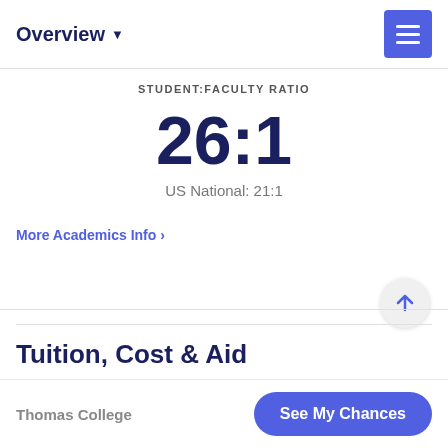Overview
STUDENT:FACULTY RATIO
26:1
US National: 21:1
More Academics Info ›
Tuition, Cost & Aid
Thomas College | See My Chances